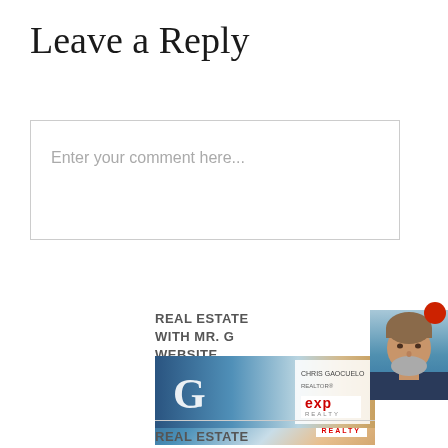Leave a Reply
Enter your comment here...
REAL ESTATE WITH MR. G WEBSITE
[Figure (photo): Real estate agency banner with large G letter, ocean background, and eXp Realty badge]
REAL ESTATE NEWS
[Figure (photo): Headshot of a man with gray beard wearing a suit jacket, ocean background]